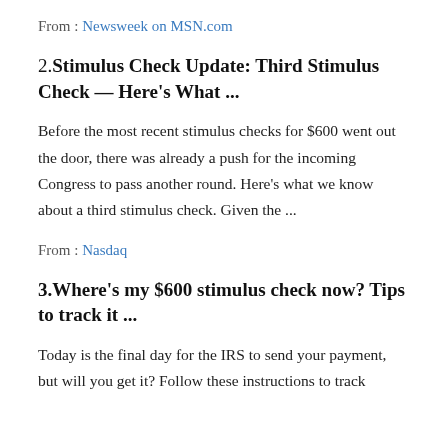From : Newsweek on MSN.com
2. Stimulus Check Update: Third Stimulus Check — Here's What ...
Before the most recent stimulus checks for $600 went out the door, there was already a push for the incoming Congress to pass another round. Here's what we know about a third stimulus check. Given the ...
From : Nasdaq
3. Where's my $600 stimulus check now? Tips to track it ...
Today is the final day for the IRS to send your payment, but will you get it? Follow these instructions to track